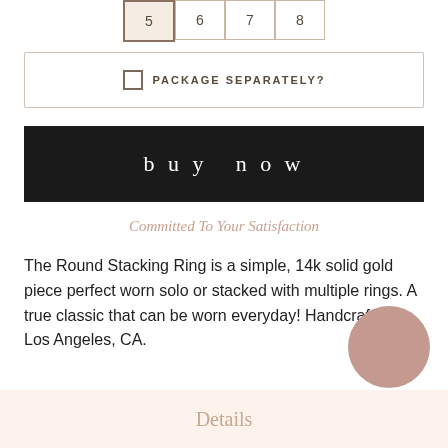| 5 | 6 | 7 | 8 |
| --- | --- | --- | --- |
PACKAGE SEPARATELY?
buy now
Committed To Your Satisfaction
The Round Stacking Ring is a simple, 14k solid gold piece perfect worn solo or stacked with multiple rings. A true classic that can be worn everyday! Handcrafted in Los Angeles, CA.
[Figure (illustration): Pink/mauve circular chat or scroll-to-top button]
Details